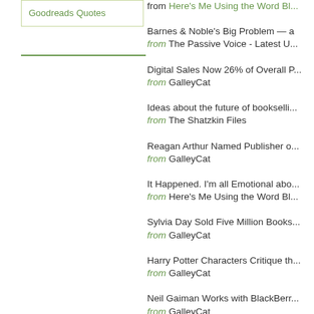Goodreads Quotes
from Here's Me Using the Word Bl...
Barnes & Noble's Big Problem — a
from The Passive Voice - Latest U...
Digital Sales Now 26% of Overall P...
from GalleyCat
Ideas about the future of bookselli...
from The Shatzkin Files
Reagan Arthur Named Publisher o...
from GalleyCat
It Happened. I'm all Emotional abo...
from Here's Me Using the Word Bl...
Sylvia Day Sold Five Million Books...
from GalleyCat
Harry Potter Characters Critique th...
from GalleyCat
Neil Gaiman Works with BlackBerr...
from GalleyCat
99-Cent Boxed Sets Lead Our Sel...